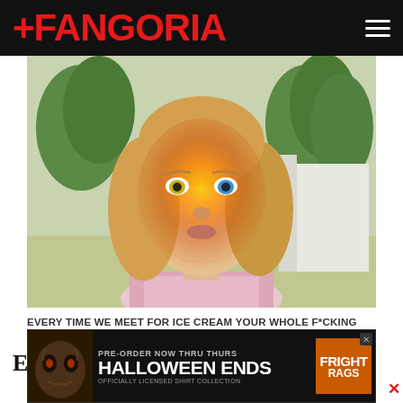FANGORIA
[Figure (photo): Close-up portrait of a young blonde girl with orange/yellow glowing special effects makeup on her face, outdoors with greenery in background]
EVERY TIME WE MEET FOR ICE CREAM YOUR WHOLE F*CKING FACE EXPLODES (2021) - Audience Award for Best Short Film
Eight nights, 31 features, 37 short films from 13 countries. The seventh annual Popcorn Frights fil
[Figure (screenshot): Advertisement banner: PRE-ORDER NOW THRU THURS HALLOWEEN ENDS OFFICIALLY LICENSED SHIRT COLLECTION - Fright Rags]